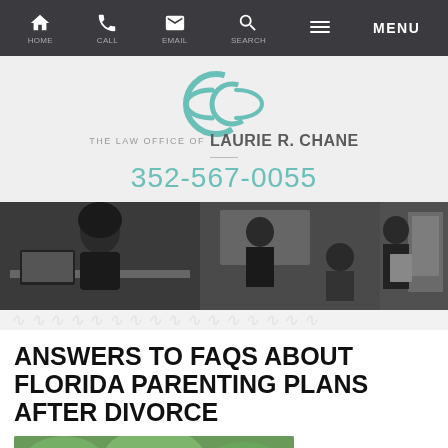Navigation bar with home, phone, email, search, and menu icons
[Figure (logo): The Law Office of Laurie R. Chane logo with teal circular graphic and phone number 352-567-0055]
[Figure (photo): Black and white panoramic photo of law office staff working and meeting]
ANSWERS TO FAQS ABOUT FLORIDA PARENTING PLANS AFTER DIVORCE
[Figure (photo): Color photo at bottom showing outdoor scene, partially visible]